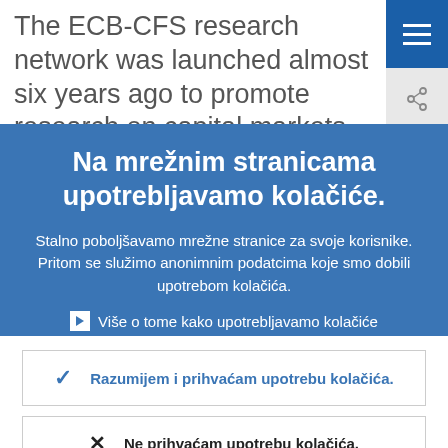The ECB-CFS research network was launched almost six years ago to promote research on capital markets and financial
[Figure (screenshot): Navigation hamburger menu icon (three horizontal white bars on blue background) and share icon below it]
Na mrežnim stranicama upotrebljavamo kolačiće.
Stalno poboljšavamo mrežne stranice za svoje korisnike. Pritom se služimo anonimnim podatcima koje smo dobili upotrebom kolačića.
› Više o tome kako upotrebljavamo kolačiće
Razumijem i prihvaćam upotrebu kolačića.
Ne prihvaćam upotrebu kolačića.